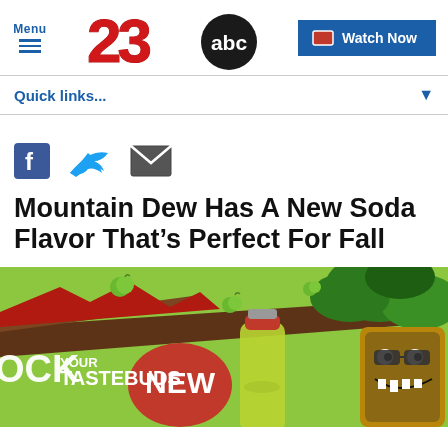[Figure (screenshot): 23ABC news website header with logo, menu button, and Watch Now button]
Quick links...
[Figure (illustration): Social sharing icons: Facebook, Twitter, Email]
Mountain Dew Has A New Soda Flavor That's Perfect For Fall
[Figure (photo): Mountain Dew advertisement image showing green cartoon illustration with text 'OCK YOUR TASTEBUDS' and 'NEW' badge with Mountain Dew bottles]